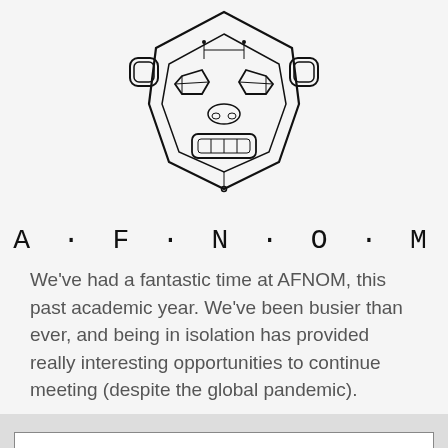[Figure (logo): AFNOM robotic monkey face logo — geometric line-art illustration of a monkey head with circuit-board style lines]
A · F · N · O · M
We've had a fantastic time at AFNOM, this past academic year. We've been busier than ever, and being in isolation has provided really interesting opportunities to continue meeting (despite the global pandemic).
Cookies settings
We use cookies to help make improvements and